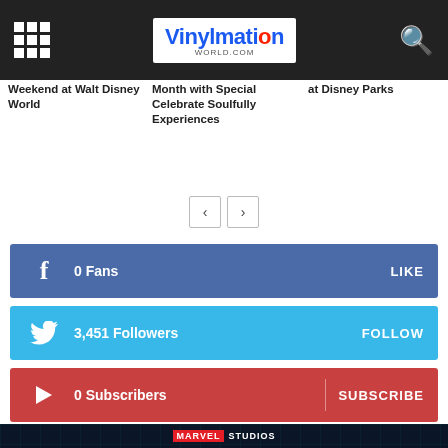Vinylmation World
Weekend at Walt Disney World
Month with Special Celebrate Soulfully Experiences
at Disney Parks
< >
f  0  Fans  LIKE
3,451  Followers  FOLLOW
0  Subscribers  SUBSCRIBE
- Advertisement -
[Figure (screenshot): Marvel Studios WandaVision promotional banner with dark background and grid effect, Funko Pop bubble logo in corner]